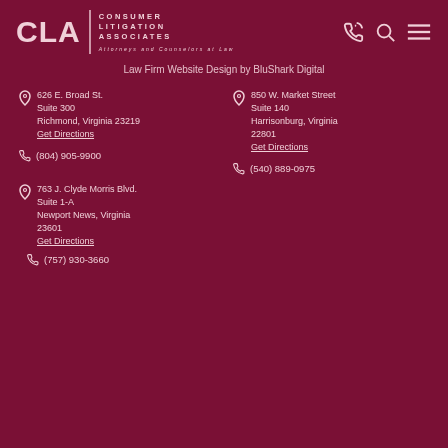[Figure (logo): CLA Consumer Litigation Associates logo with tagline Attorneys and Counselors at Law]
Law Firm Website Design by BluShark Digital
626 E. Broad St.
Suite 300
Richmond, Virginia 23219
Get Directions
(804) 905-9900
850 W. Market Street
Suite 140
Harrisonburg, Virginia 22801
Get Directions
(540) 889-0975
763 J. Clyde Morris Blvd.
Suite 1-A
Newport News, Virginia 23601
Get Directions
(757) 930-3660